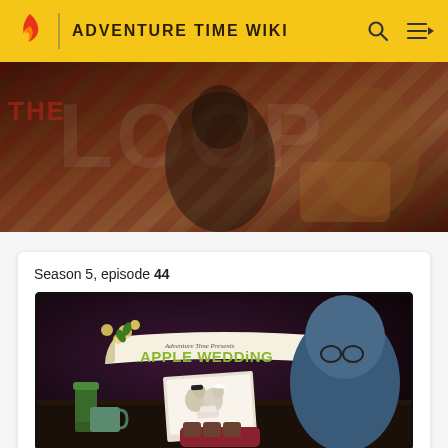ADVENTURE TIME WIKI
[Figure (screenshot): The Loop promotional banner with dark military/action game imagery and diagonal stripe pattern]
Season 5, episode 44
[Figure (screenshot): Apple Wedding episode title card from Adventure Time showing cartoon characters at a wedding with flowers and a banner reading 'Adventure Time Presents Apple Wedding']